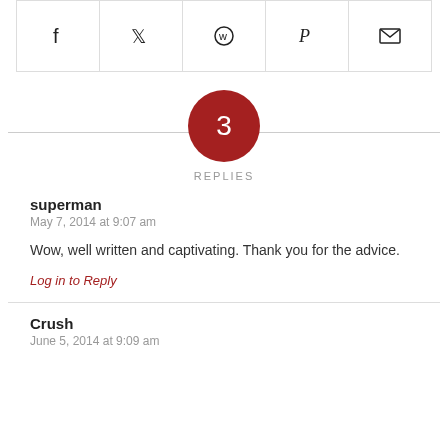[Figure (other): Social share bar with icons: Facebook, Twitter, WhatsApp, Pinterest, Email]
3 REPLIES
superman
May 7, 2014 at 9:07 am
Wow, well written and captivating. Thank you for the advice.
Log in to Reply
Crush
June 5, 2014 at 9:09 am